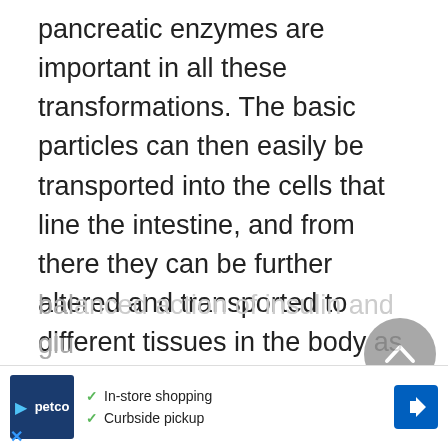pancreatic enzymes are important in all these transformations. The basic particles can then easily be transported into the cells that line the intestine, and from there they can be further altered and transported to different tissues in the body as fuel sources and construction materials.
Similarly, the body cannot maintain normal blood sugar levels without the balanced action of insulin and glu…